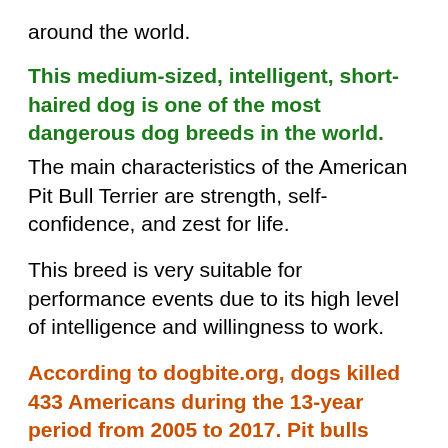around the world.
This medium-sized, intelligent, short-haired dog is one of the most dangerous dog breeds in the world. The main characteristics of the American Pit Bull Terrier are strength, self-confidence, and zest for life.
This breed is very suitable for performance events due to its high level of intelligence and willingness to work.
According to dogbite.org, dogs killed 433 Americans during the 13-year period from 2005 to 2017. Pit bulls contributed to 66% (284) of these deaths.